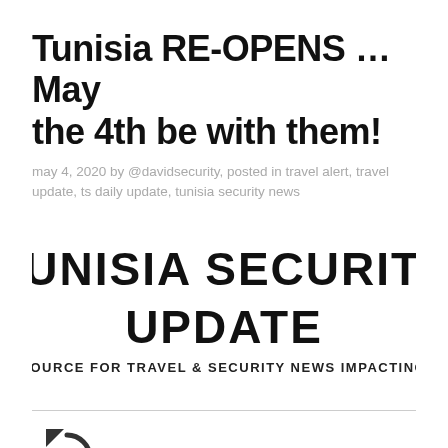Tunisia RE-OPENS …May the 4th be with them!
may 4, 2020 by @davidsecurity, posted in travel alert, travel update, ts daily update, tunisia security news
[Figure (infographic): Tunisia Security Update logo/header: large bold text reading TUNISIA SECURITY UPDATE, with tagline YOUR #1 SOURCE FOR TRAVEL & SECURITY NEWS IMPACTING TUNISIA.]
[Figure (other): Partial circular refresh/reload icon shown at bottom left, partially cut off]